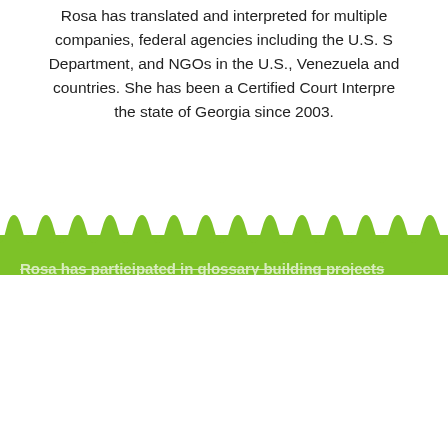Rosa has translated and interpreted for multiple companies, federal agencies including the U.S. State Department, and NGOs in the U.S., Venezuela and other countries. She has been a Certified Court Interpreter in the state of Georgia since 2003.
[Figure (illustration): Green wavy/scalloped shape transitioning from white background to green section below]
Rosa has participated in glossary building projects for the CDC and the Office of Minority Health Resource Center in Washington, D.C.
Rosa has taught translation, interpretation, and note-taking courses at Universidad Central de Venezuela, Georgia State University, and courses for special purposes for the Gwinnett County Public Schools and the Fulton Department of Education, and has been an invited guest speaker at various educational events including the International Terminology Summer School 2008 (Vienna, Austria), the Atlanta Association of Interpreters and Translators, and the Medical